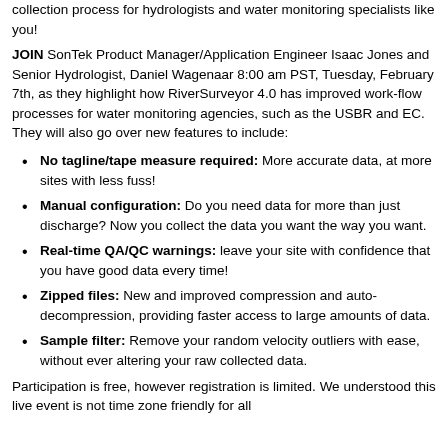collection process for hydrologists and water monitoring specialists like you!
JOIN SonTek Product Manager/Application Engineer Isaac Jones and Senior Hydrologist, Daniel Wagenaar 8:00 am PST, Tuesday, February 7th, as they highlight how RiverSurveyor 4.0 has improved work-flow processes for water monitoring agencies, such as the USBR and EC. They will also go over new features to include:
No tagline/tape measure required: More accurate data, at more sites with less fuss!
Manual configuration: Do you need data for more than just discharge? Now you collect the data you want the way you want.
Real-time QA/QC warnings: leave your site with confidence that you have good data every time!
Zipped files: New and improved compression and auto-decompression, providing faster access to large amounts of data.
Sample filter: Remove your random velocity outliers with ease, without ever altering your raw collected data.
Participation is free, however registration is limited. We understood this live event is not time zone friendly for all